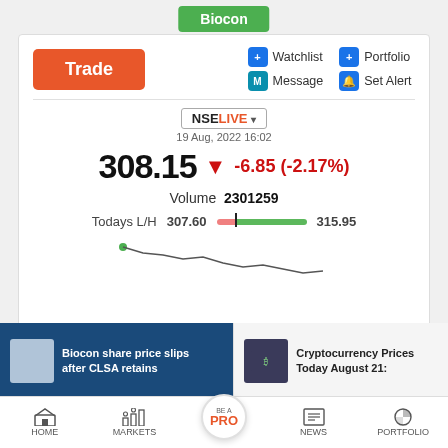Biocon
Trade
+ Watchlist | + Portfolio | M Message | Bell Set Alert
NSELIVE ▾
19 Aug, 2022 16:02
308.15 ▼ -6.85 (-2.17%)
Volume 2301259
Todays L/H 307.60 [bar] 315.95
[Figure (line-chart): Stock price chart showing Biocon price line]
Biocon share price slips after CLSA retains
Cryptocurrency Prices Today August 21:
HOME | MARKETS | BE A PRO | NEWS | PORTFOLIO